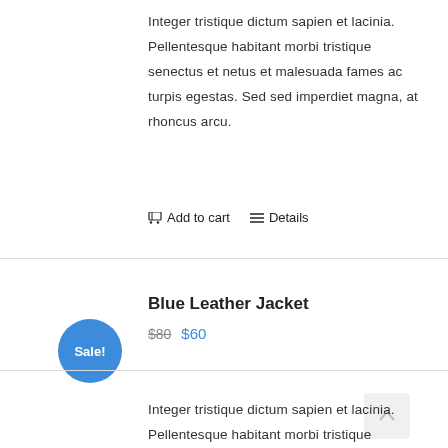Integer tristique dictum sapien et lacinia. Pellentesque habitant morbi tristique senectus et netus et malesuada fames ac turpis egestas. Sed sed imperdiet magna, at rhoncus arcu.
🛒 Add to cart   ☰ Details
Blue Leather Jacket
$80  $60
Integer tristique dictum sapien et lacinia. Pellentesque habitant morbi tristique